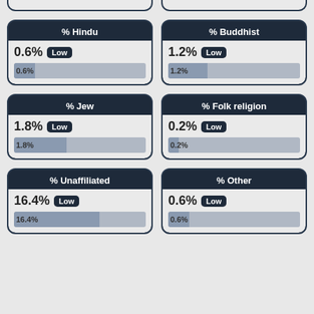[Figure (infographic): Partial card tops visible at top of page (Hindu and Buddhist cards cut off)]
[Figure (infographic): % Hindu]
[Figure (infographic): % Buddhist]
[Figure (infographic): % Jew]
[Figure (infographic): % Folk religion]
[Figure (infographic): % Unaffiliated]
[Figure (infographic): % Other]